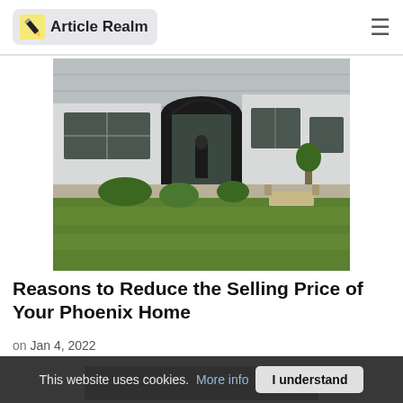Article Realm
[Figure (photo): Exterior of a modern white house with large windows, a dark arched entryway, green lawn in foreground, plants and a patio with furniture visible]
Reasons to Reduce the Selling Price of Your Phoenix Home
on Jan 4, 2022
[Figure (photo): Partially visible second image, mostly dark/black background]
This website uses cookies. More info  I understand